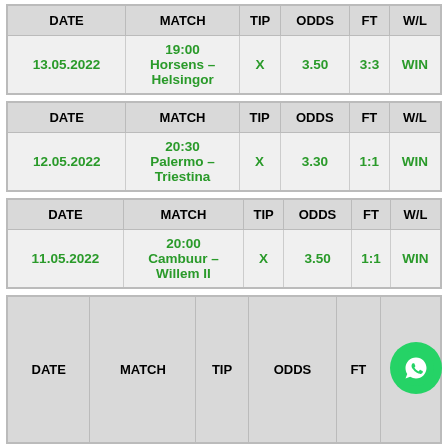| DATE | MATCH | TIP | ODDS | FT | W/L |
| --- | --- | --- | --- | --- | --- |
| 13.05.2022 | 19:00
Horsens – Helsingor | X | 3.50 | 3:3 | WIN |
| DATE | MATCH | TIP | ODDS | FT | W/L |
| --- | --- | --- | --- | --- | --- |
| 12.05.2022 | 20:30
Palermo – Triestina | X | 3.30 | 1:1 | WIN |
| DATE | MATCH | TIP | ODDS | FT | W/L |
| --- | --- | --- | --- | --- | --- |
| 11.05.2022 | 20:00
Cambuur – Willem II | X | 3.50 | 1:1 | WIN |